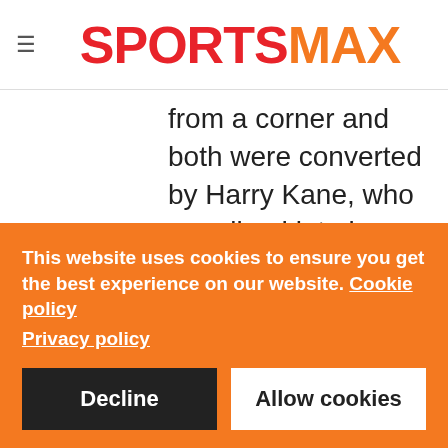SPORTSMAX
from a corner and both were converted by Harry Kane, who equalised late in a fiery 2-2 draw with Chelsea before netting the only goal of the game
This website uses cookies to ensure you get the best experience on our website. Cookie policy Privacy policy
Decline
Allow cookies